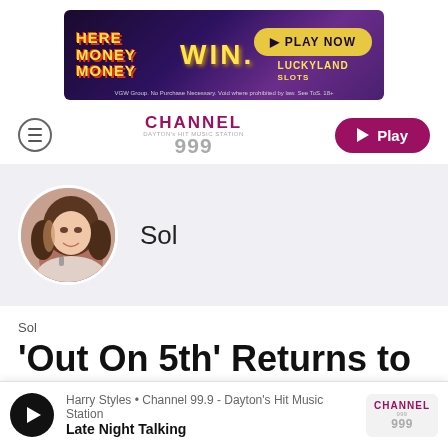[Figure (screenshot): Advertisement banner for LuckyLand Slots - Here Money Money, WIN, Play Now button on purple/dark background]
[Figure (logo): Channel 999 radio station logo in pink/magenta and grey colors]
[Figure (screenshot): Play button (pink/magenta pill-shaped button with triangle play icon)]
[Figure (photo): Circular profile photo of a young woman with long brown hair, smiling, holding a microphone]
Sol
Sol
'Out On 5th' Returns to
[Figure (screenshot): Media player bar at bottom: Harry Styles • Channel 99.9 - Dayton's Hit Music Station / Late Night Talking, with play button and Channel 999 logo]